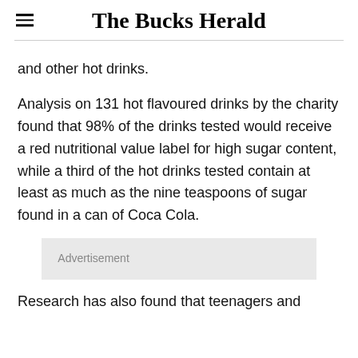The Bucks Herald
and other hot drinks.
Analysis on 131 hot flavoured drinks by the charity found that 98% of the drinks tested would receive a red nutritional value label for high sugar content, while a third of the hot drinks tested contain at least as much as the nine teaspoons of sugar found in a can of Coca Cola.
Advertisement
Research has also found that teenagers and